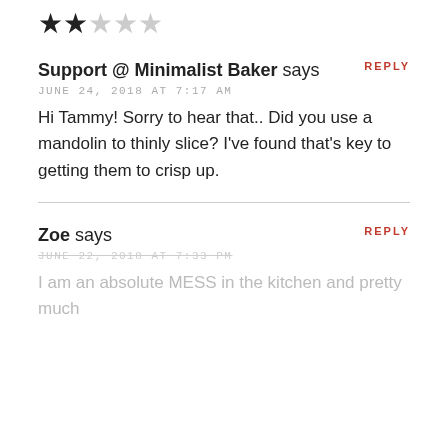[Figure (other): 2 out of 5 stars rating]
Support @ Minimalist Baker says
JUNE 24, 2018 AT 7:17 AM
Hi Tammy! Sorry to hear that.. Did you use a mandolin to thinly slice? I've found that's key to getting them to crisp up.
REPLY
Zoe says
JUNE 22, 2018 AT 7:33 PM
REPLY
I am an absolute MESS in the kitchen and pretty much